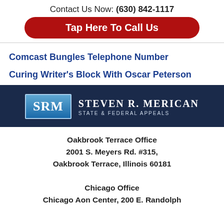Contact Us Now: (630) 842-1117
Tap Here To Call Us
Comcast Bungles Telephone Number
Curing Writer’s Block With Oscar Peterson
[Figure (logo): SRM Steven R. Merican State & Federal Appeals logo on dark navy background]
Oakbrook Terrace Office
2001 S. Meyers Rd. #315,
Oakbrook Terrace, Illinois 60181
Chicago Office
Chicago Aon Center, 200 E. Randolph